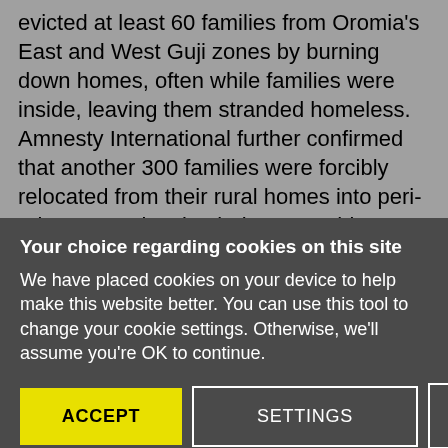evicted at least 60 families from Oromia's East and West Guji zones by burning down homes, often while families were inside, leaving them stranded homeless. Amnesty International further confirmed that another 300 families were forcibly relocated from their rural homes into peri-urban areas leaving being everything – household items, harvests and crops on farms.
Your choice regarding cookies on this site
We have placed cookies on your device to help make this website better. You can use this tool to change your cookie settings. Otherwise, we'll assume you're OK to continue.